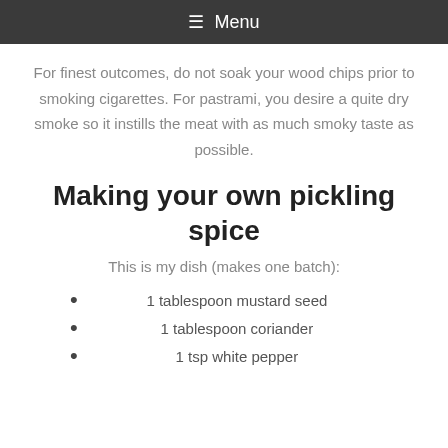☰ Menu
For finest outcomes, do not soak your wood chips prior to smoking cigarettes. For pastrami, you desire a quite dry smoke so it instills the meat with as much smoky taste as possible.
Making your own pickling spice
This is my dish (makes one batch):
1 tablespoon mustard seed
1 tablespoon coriander
1 tsp white pepper